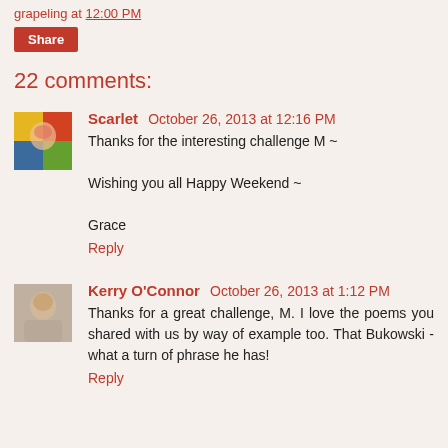grapeling at 12:00 PM
Share
22 comments:
Scarlet October 26, 2013 at 12:16 PM
Thanks for the interesting challenge M ~

Wishing you all Happy Weekend ~

Grace
Reply
Kerry O'Connor October 26, 2013 at 1:12 PM
Thanks for a great challenge, M. I love the poems you shared with us by way of example too. That Bukowski - what a turn of phrase he has!
Reply